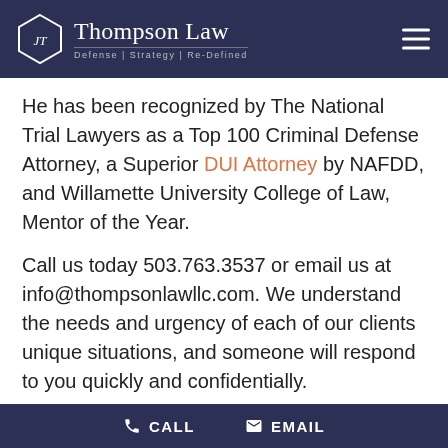Thompson Law — Defense | Strategy | Re-Defined
He has been recognized by The National Trial Lawyers as a Top 100 Criminal Defense Attorney, a Superior DUI Attorney by NAFDD, and Willamette University College of Law, Mentor of the Year.
Call us today 503.763.3537 or email us at info@thompsonlawllc.com. We understand the needs and urgency of each of our clients unique situations, and someone will respond to you quickly and confidentially.
Criminal Law Services That We
CALL   EMAIL